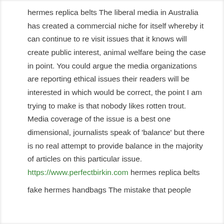hermes replica belts The liberal media in Australia has created a commercial niche for itself whereby it can continue to re visit issues that it knows will create public interest, animal welfare being the case in point. You could argue the media organizations are reporting ethical issues their readers will be interested in which would be correct, the point I am trying to make is that nobody likes rotten trout. Media coverage of the issue is a best one dimensional, journalists speak of 'balance' but there is no real attempt to provide balance in the majority of articles on this particular issue. https://www.perfectbirkin.com hermes replica belts
fake hermes handbags The mistake that people